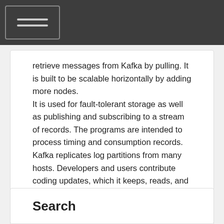retrieve messages from Kafka by pulling. It is built to be scalable horizontally by adding more nodes.
It is used for fault-tolerant storage as well as publishing and subscribing to a stream of records. The programs are intended to process timing and consumption records. Kafka replicates log partitions from many hosts. Developers and users contribute coding updates, which it keeps, reads, and analyses in real-time. For messaging, website activity tracking, log aggregation, and commit logs, Kafka is employed. Although Kafka can be used as a database, it lacks a data schema and indexes.
Search